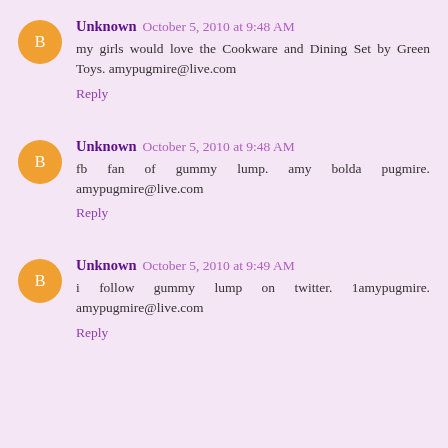Unknown October 5, 2010 at 9:48 AM
my girls would love the Cookware and Dining Set by Green Toys. amypugmire@live.com
Reply
Unknown October 5, 2010 at 9:48 AM
fb fan of gummy lump. amy bolda pugmire. amypugmire@live.com
Reply
Unknown October 5, 2010 at 9:49 AM
i follow gummy lump on twitter. 1amypugmire. amypugmire@live.com
Reply